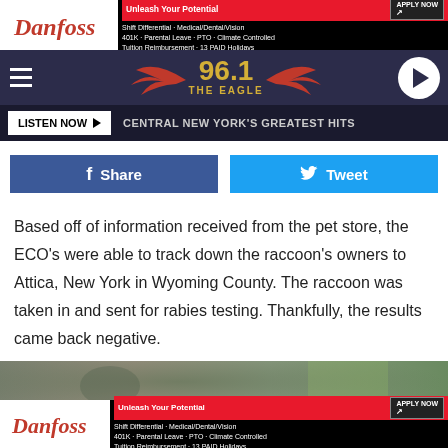[Figure (screenshot): Danfoss advertisement banner: Unleash Your Potential - Shift Differential, Medical/Dental/Vision, 401K, Parental Leave, PTO, Climate Controlled, Tuition Reimbursement, 13 PAID Holidays]
[Figure (logo): 96.1 The Eagle radio station logo with wings and navigation bar]
LISTEN NOW ▶  CENTRAL NEW YORK'S GREATEST HITS
[Figure (screenshot): Facebook Share and Twitter Tweet social sharing buttons]
Based off of information received from the pet store, the ECO's were able to track down the raccoon's owners to Attica, New York in Wyoming County. The raccoon was taken in and sent for rabies testing. Thankfully, the results came back negative.
[Figure (photo): Partial photo of a raccoon]
[Figure (screenshot): Danfoss advertisement banner at bottom: Unleash Your Potential - Shift Differential, Medical/Dental/Vision, 401K, Parental Leave, PTO, Climate Controlled, Tuition Reimbursement, 13 PAID Holidays]